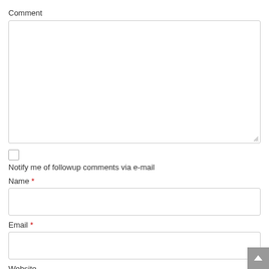Comment
[Figure (screenshot): Large textarea input box for comment entry, with resize handle at bottom-right corner]
[Figure (screenshot): Unchecked checkbox]
Notify me of followup comments via e-mail
Name *
[Figure (screenshot): Text input field for Name]
Email *
[Figure (screenshot): Text input field for Email]
Website